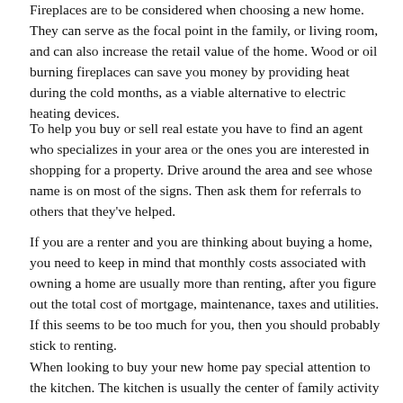Fireplaces are to be considered when choosing a new home. They can serve as the focal point in the family, or living room, and can also increase the retail value of the home. Wood or oil burning fireplaces can save you money by providing heat during the cold months, as a viable alternative to electric heating devices.
To help you buy or sell real estate you have to find an agent who specializes in your area or the ones you are interested in shopping for a property. Drive around the area and see whose name is on most of the signs. Then ask them for referrals to others that they've helped.
If you are a renter and you are thinking about buying a home, you need to keep in mind that monthly costs associated with owning a home are usually more than renting, after you figure out the total cost of mortgage, maintenance, taxes and utilities. If this seems to be too much for you, then you should probably stick to renting.
When looking to buy your new home pay special attention to the kitchen. The kitchen is usually the center of family activity so this room is one of the most important in the house. Large kitchens are desirable, and so are modern appliances. It should be easy to get